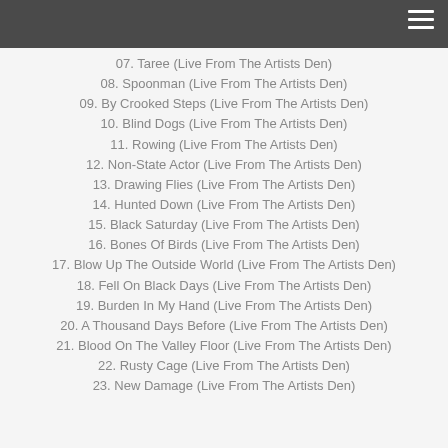07. Taree (Live From The Artists Den)
08. Spoonman (Live From The Artists Den)
09. By Crooked Steps (Live From The Artists Den)
10. Blind Dogs (Live From The Artists Den)
11. Rowing (Live From The Artists Den)
12. Non-State Actor (Live From The Artists Den)
13. Drawing Flies (Live From The Artists Den)
14. Hunted Down (Live From The Artists Den)
15. Black Saturday (Live From The Artists Den)
16. Bones Of Birds (Live From The Artists Den)
17. Blow Up The Outside World (Live From The Artists Den)
18. Fell On Black Days (Live From The Artists Den)
19. Burden In My Hand (Live From The Artists Den)
20. A Thousand Days Before (Live From The Artists Den)
21. Blood On The Valley Floor (Live From The Artists Den)
22. Rusty Cage (Live From The Artists Den)
23. New Damage (Live From The Artists Den)